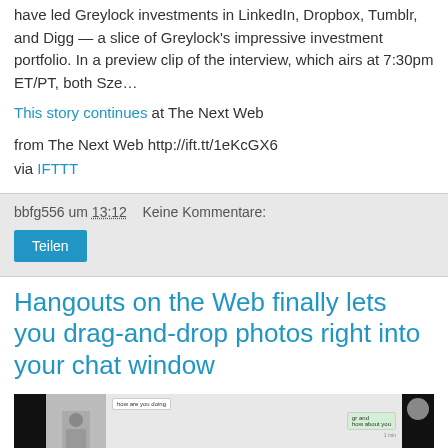have led Greylock investments in LinkedIn, Dropbox, Tumblr, and Digg — a slice of Greylock's impressive investment portfolio. In a preview clip of the interview, which airs at 7:30pm ET/PT, both Sze…
This story continues at The Next Web
from The Next Web http://ift.tt/1eKcGX6
via IFTTT
bbfg556 um 13:12    Keine Kommentare:
Teilen
Hangouts on the Web finally lets you drag-and-drop photos right into your chat window
[Figure (screenshot): Screenshot of a Hangouts chat window interface showing chat bubbles and avatar]